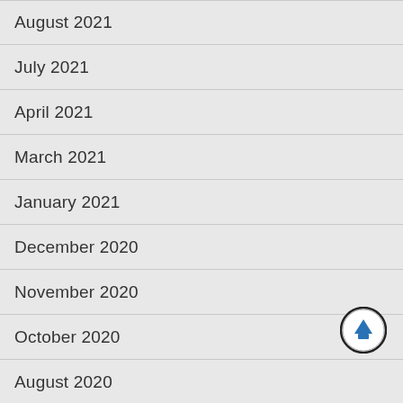August 2021
July 2021
April 2021
March 2021
January 2021
December 2020
November 2020
October 2020
August 2020